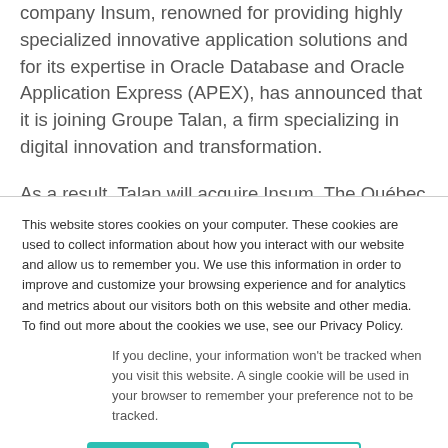company Insum, renowned for providing highly specialized innovative application solutions and for its expertise in Oracle Database and Oracle Application Express (APEX), has announced that it is joining Groupe Talan, a firm specializing in digital innovation and transformation.
As a result, Talan will acquire Insum. The Québec
This website stores cookies on your computer. These cookies are used to collect information about how you interact with our website and allow us to remember you. We use this information in order to improve and customize your browsing experience and for analytics and metrics about our visitors both on this website and other media. To find out more about the cookies we use, see our Privacy Policy.
If you decline, your information won't be tracked when you visit this website. A single cookie will be used in your browser to remember your preference not to be tracked.